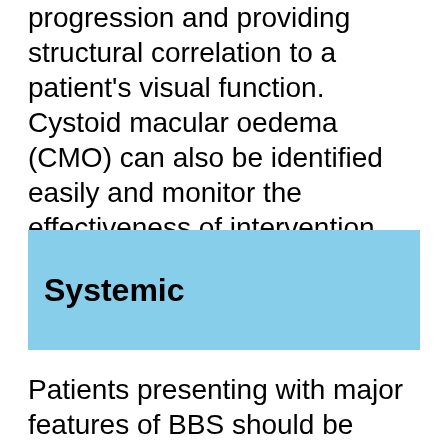progression and providing structural correlation to a patient's visual function. Cystoid macular oedema (CMO) can also be identified easily and monitor the effectiveness of intervention.
Systemic
Patients presenting with major features of BBS should be referred to a paediatrician for further... This may include but no...